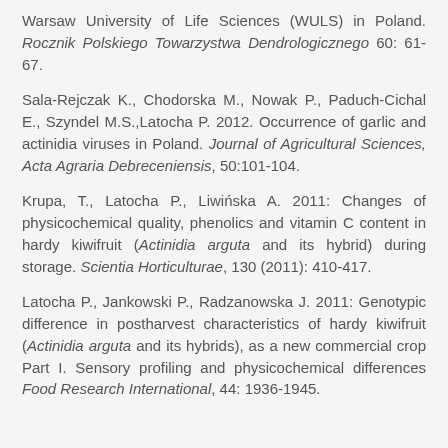Warsaw University of Life Sciences (WULS) in Poland. Rocznik Polskiego Towarzystwa Dendrologicznego 60: 61-67.
Sala-Rejczak K., Chodorska M., Nowak P., Paduch-Cichal E., Szyndel M.S.,Latocha P. 2012. Occurrence of garlic and actinidia viruses in Poland. Journal of Agricultural Sciences, Acta Agraria Debreceniensis, 50:101-104.
Krupa, T., Latocha P., Liwińska A. 2011: Changes of physicochemical quality, phenolics and vitamin C content in hardy kiwifruit (Actinidia arguta and its hybrid) during storage. Scientia Horticulturae, 130 (2011): 410-417.
Latocha P., Jankowski P., Radzanowska J. 2011: Genotypic difference in postharvest characteristics of hardy kiwifruit (Actinidia arguta and its hybrids), as a new commercial crop Part I. Sensory profiling and physicochemical differences Food Research International, 44: 1936-1945.